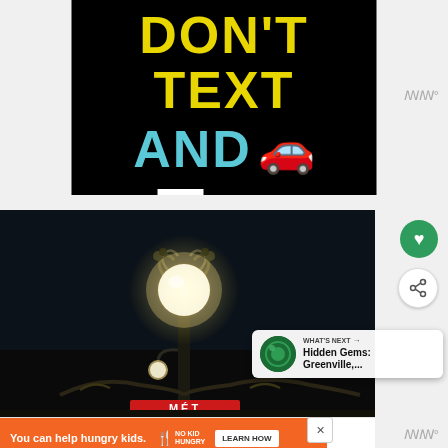[Figure (infographic): Ad Council / NHTSA anti-texting-while-driving public service announcement on black background. Yellow bold text reads DON'T TEXT, cyan bold text reads AND, followed by a red car emoji. Ad Council and NHTSA logos appear at bottom.]
[Figure (photo): Night photograph of an ornate street lamp glowing against a dark sky, with decorative metalwork and a red sign partially visible at bottom.]
WHAT'S NEXT →
Hidden Gems: Greenville,...
You can help hungry kids.
LEARN HOW